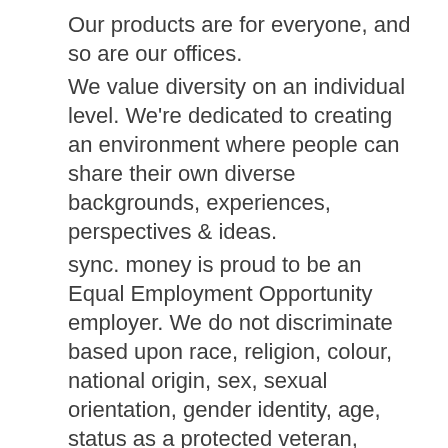Our products are for everyone, and so are our offices.
We value diversity on an individual level. We're dedicated to creating an environment where people can share their own diverse backgrounds, experiences, perspectives & ideas.
sync. money is proud to be an Equal Employment Opportunity employer. We do not discriminate based upon race, religion, colour, national origin, sex, sexual orientation, gender identity, age, status as a protected veteran, status as an individual with a disability, or other applicable legally protected characteristics.
Ready To Take The Leap?
RECRUITERS NOTICE:
This Role is for direct applications only and our HR Department will not be accepting direct...